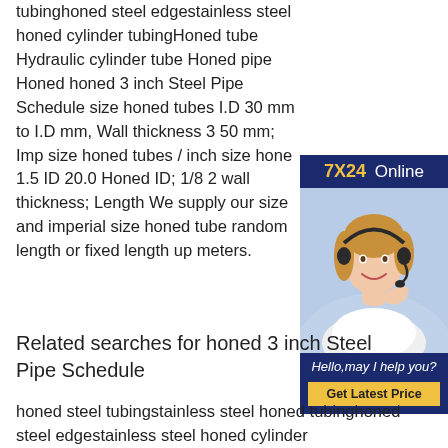tubinghoned steel edgestainless steel honed cylinder tubingHoned tube Hydraulic cylinder tube Honed pipe Honed honed 3 inch Steel Pipe Schedule size honed tubes I.D 30 mm to I.D mm, Wall thickness 3 50 mm; Imp size honed tubes / inch size hone 1.5 ID 20.0 Honed ID; 1/8 2 wall thickness; Length We supply our size and imperial size honed tube random length or fixed length up meters.
[Figure (other): Customer service widget with '7X24 Online' header in navy/gold, photo of woman with headset, tagline 'Hello,may I help you?' and yellow 'Get Latest Price' button]
Related searches for honed 3 inch Steel Pipe Schedule
honed steel tubingstainless steel honed tubinghoned steel edgestainless steel honed cylinder tubingStainless Steel